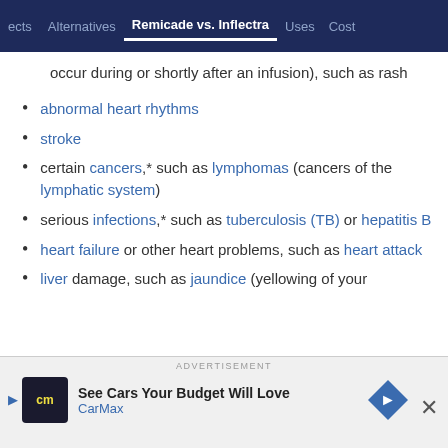ects | Alternatives | Remicade vs. Inflectra | Uses | Cost
occur during or shortly after an infusion), such as rash
abnormal heart rhythms
stroke
certain cancers,* such as lymphomas (cancers of the lymphatic system)
serious infections,* such as tuberculosis (TB) or hepatitis B
heart failure or other heart problems, such as heart attack
liver damage, such as jaundice (yellowing of your
[Figure (screenshot): CarMax advertisement banner: 'See Cars Your Budget Will Love' with CarMax logo and navigation arrow icon]